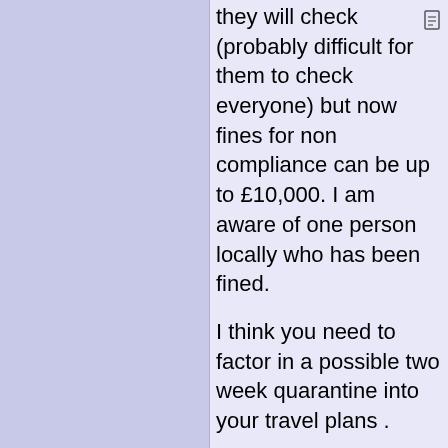they will check (probably difficult for them to check everyone) but now fines for non compliance can be up to £10,000. I am aware of one person locally who has been fined.

I think you need to factor in a possible two week quarantine into your travel plans .

It is very likely that within Europe quarantine will be replaced by testing to fly so travel between some countries would involve testing both ways.

The UK is set to decide its approach to Test to fly no later than early Nov.
Poster: A snowHead
The Schengen countries are about to agree (today) an integrated Covid border system: